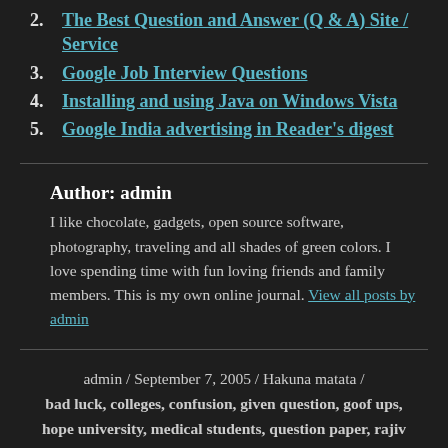2. The Best Question and Answer (Q & A) Site / Service
3. Google Job Interview Questions
4. Installing and using Java on Windows Vista
5. Google India advertising in Reader's digest
Author: admin
I like chocolate, gadgets, open source software, photography, traveling and all shades of green colors. I love spending time with fun loving friends and family members. This is my own online journal. View all posts by admin
admin / September 7, 2005 / Hakuna matata / bad luck, colleges, confusion, given question, goof ups, hope university, medical students, question paper, rajiv